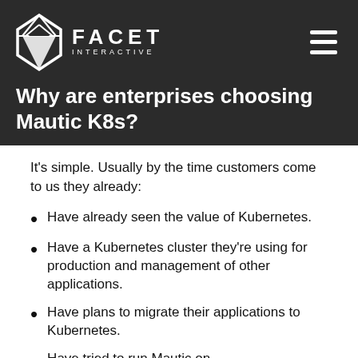Facet Interactive
Why are enterprises choosing Mautic K8s?
It's simple. Usually by the time customers come to us they already:
Have already seen the value of Kubernetes.
Have a Kubernetes cluster they're using for production and management of other applications.
Have plans to migrate their applications to Kubernetes.
Have tried to run Mautic on Kubernetes and found it to be...